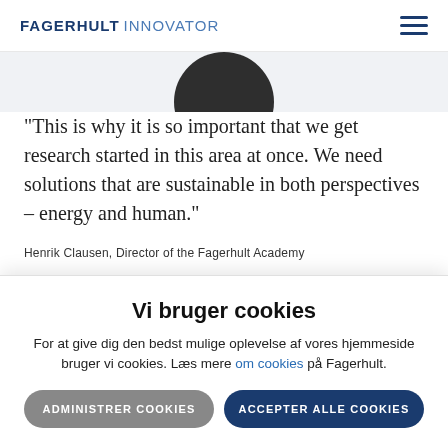FAGERHULT INNOVATOR
[Figure (photo): Partial circular photo of a person in dark clothing, cropped at top]
"This is why it is so important that we get research started in this area at once. We need solutions that are sustainable in both perspectives – energy and human."
Henrik Clausen, Director of the Fagerhult Academy
Vi bruger cookies
For at give dig den bedst mulige oplevelse af vores hjemmeside bruger vi cookies. Læs mere om cookies på Fagerhult.
ADMINISTRER COOKIES
ACCEPTER ALLE COOKIES